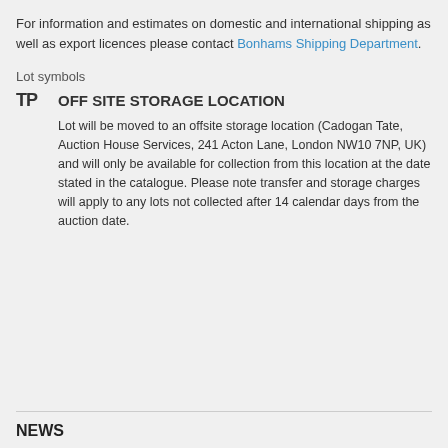For information and estimates on domestic and international shipping as well as export licences please contact Bonhams Shipping Department.
Lot symbols
TP OFF SITE STORAGE LOCATION
Lot will be moved to an offsite storage location (Cadogan Tate, Auction House Services, 241 Acton Lane, London NW10 7NP, UK) and will only be available for collection from this location at the date stated in the catalogue. Please note transfer and storage charges will apply to any lots not collected after 14 calendar days from the auction date.
NEWS